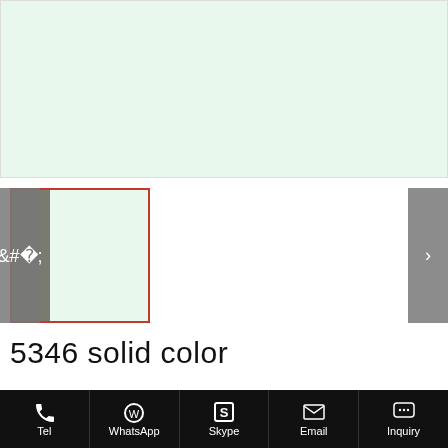[Figure (photo): Large light mint green color swatch / product image area]
[Figure (photo): Thumbnail of product: gray bar on left, mint green on right, selected with red border. Left and right navigation arrows.]
5346 solid color
Some text about product description clipped at bottom
Tel | WhatsApp | Skype | Email | Inquiry